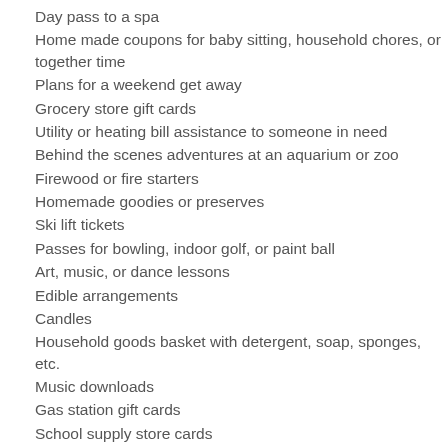Day pass to a spa
Home made coupons for baby sitting, household chores, or together time
Plans for a weekend get away
Grocery store gift cards
Utility or heating bill assistance to someone in need
Behind the scenes adventures at an aquarium or zoo
Firewood or fire starters
Homemade goodies or preserves
Ski lift tickets
Passes for bowling, indoor golf, or paint ball
Art, music, or dance lessons
Edible arrangements
Candles
Household goods basket with detergent, soap, sponges, etc.
Music downloads
Gas station gift cards
School supply store cards